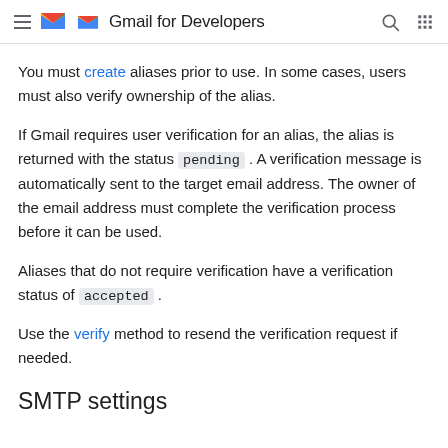Gmail for Developers
You must create aliases prior to use. In some cases, users must also verify ownership of the alias.
If Gmail requires user verification for an alias, the alias is returned with the status pending . A verification message is automatically sent to the target email address. The owner of the email address must complete the verification process before it can be used.
Aliases that do not require verification have a verification status of accepted .
Use the verify method to resend the verification request if needed.
SMTP settings